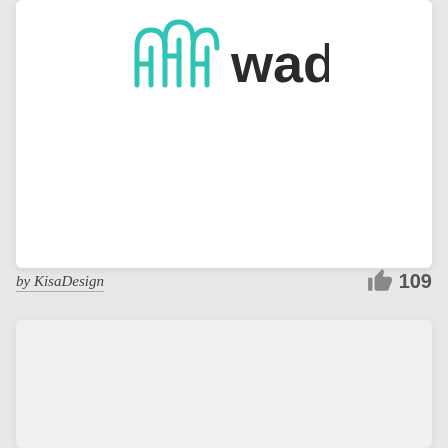[Figure (logo): Wads logo: teal brain/circuit icon on left, bold dark text 'wads' on right]
by KisaDesign
109
[Figure (other): Light gray placeholder/preview card at the bottom]